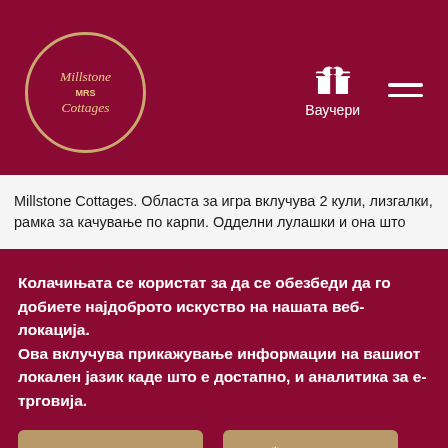[Figure (logo): Millstone Cottages circular logo with decorative border on dark red background]
Ваучери
Millstone Cottages. Областa за игра вклучува 2 кули, лизгалки, рамка за качување по карпи. Одделни лулашки и она што
Колачињата се користат за да се обезбеди да го добиете најдоброто искуство на нашата веб-локација. Ова вклучува прикажување информации на вашиот локален јазик каде што е достапно, и аналитика за е-трговија.
Политика за колачиња
Управувај
Дозволи колачиња